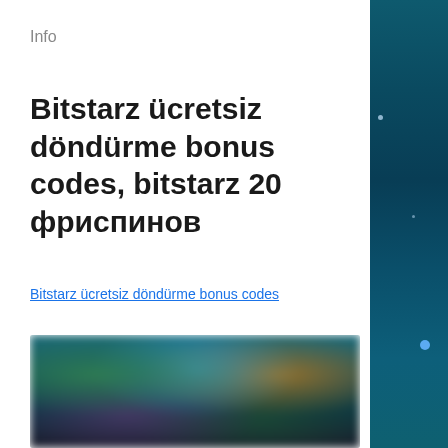Info
Bitstarz ücretsiz döndürme bonus codes, bitstarz 20 фриспинов
Bitstarz ücretsiz döndürme bonus codes
[Figure (photo): Blurred screenshot of an online casino game lobby showing colorful game characters and thumbnails against a dark background]